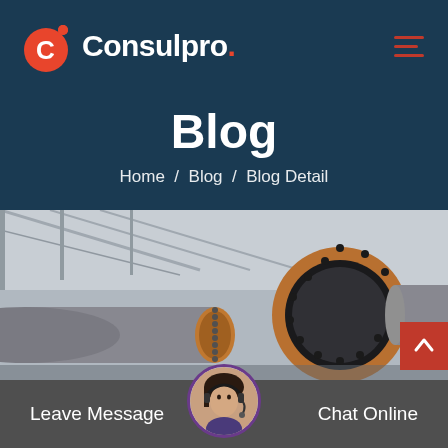[Figure (logo): Consulpro logo with orange circle containing white C letter and orange dot above-right]
Consulpro.
[Figure (other): Hamburger menu icon with three horizontal red/orange lines]
Blog
Home  /  Blog  /  Blog Detail
[Figure (photo): Industrial machinery photo showing large metal pipe rings/flanges with bolts in a factory/warehouse setting with steel roof structure visible]
[Figure (other): Red scroll-to-top button with upward chevron arrow]
Leave Message
[Figure (photo): Customer service agent avatar - woman wearing headset microphone]
Chat Online